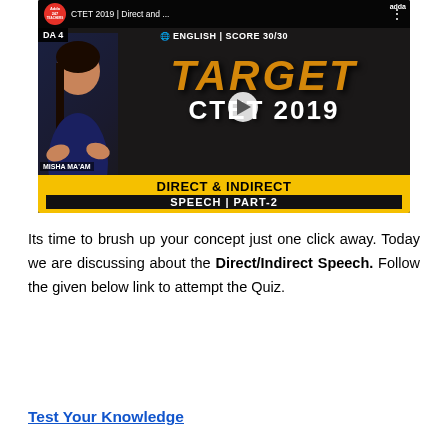[Figure (screenshot): YouTube video thumbnail for 'CTET 2019 | Direct and ... | Direct & Indirect Speech | Part-2' by Adda247 Teachers, featuring Misha Ma'am. Shows 'TARGET CTET 2019' and 'DIRECT & INDIRECT SPEECH | PART-2' text with a play button overlay. English | Score 30/30.]
Its time to brush up your concept just one click away. Today we are discussing about the Direct/Indirect Speech. Follow the given below link to attempt the Quiz.
Test Your Knowledge